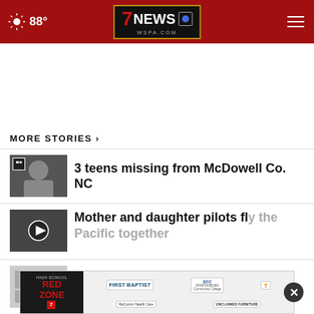7NEWS WSPA.COM — 88°
[Figure (screenshot): Advertisement space (blank white area)]
MORE STORIES ›
3 teens missing from McDowell Co. NC
Mother and daughter pilots fly the Pacific together
... to report crime
[Figure (screenshot): Bottom advertisement banner with High School Red Zone, First Baptist, SCC Spartanburg Community College, and other sponsors. Has an X close button.]